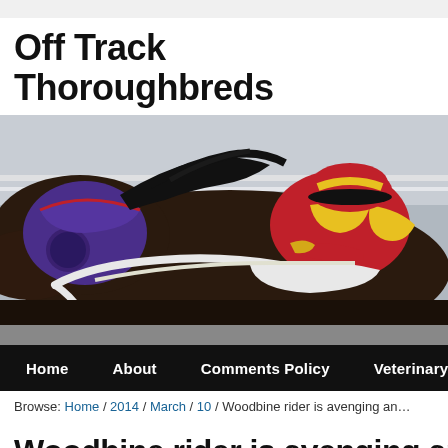Off Track Thoroughbreds
[Figure (photo): A dark bay thoroughbred racehorse wearing a purple hood/blinder, racing at full speed. A jockey in red and yellow silks and a red and yellow cap is riding the horse, leaning forward. The background shows a racetrack with white railings.]
Home  About  Comments Policy  Veterinary
Browse: Home / 2014 / March / 10 / Woodbine rider is avenging an...
Woodbine rider is avenging ang...